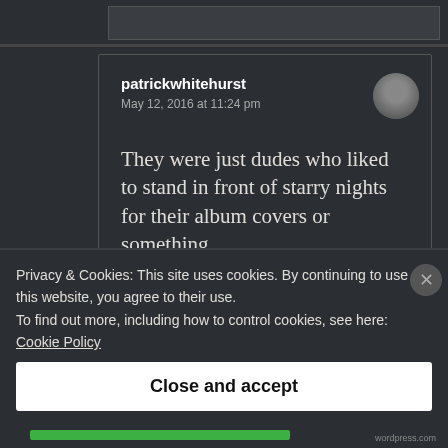patrickwhitehurst
May 12, 2016 at 11:24 pm
They were just dudes who liked to stand in front of starry nights for their album covers or something.
Privacy & Cookies: This site uses cookies. By continuing to use this website, you agree to their use.
To find out more, including how to control cookies, see here: Cookie Policy
Close and accept